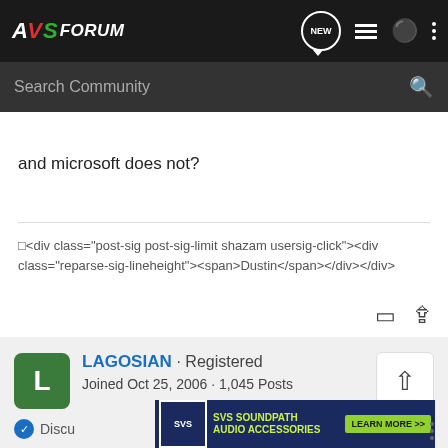AVS FORUM — Search Community
and microsoft does not?
□<div class="post-sig post-sig-limit shazam usersig-click"><div class="reparse-sig-lineheight"><span>Dustin</span></div></div>
LAGOSIAN · Registered
Joined Oct 25, 2006 · 1,045 Posts
[Figure (screenshot): SVS SoundPath Audio Accessories advertisement banner]
Discu…